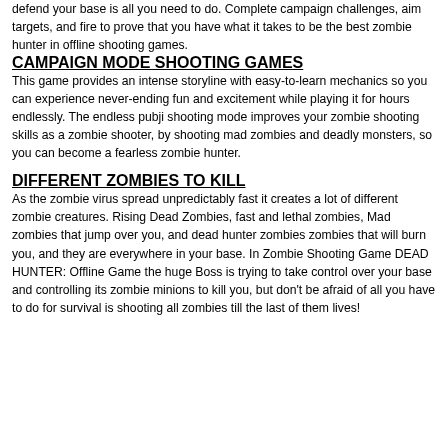defend your base is all you need to do. Complete campaign challenges, aim targets, and fire to prove that you have what it takes to be the best zombie hunter in offline shooting games.
CAMPAIGN MODE SHOOTING GAMES
This game provides an intense storyline with easy-to-learn mechanics so you can experience never-ending fun and excitement while playing it for hours endlessly. The endless pubji shooting mode improves your zombie shooting skills as a zombie shooter, by shooting mad zombies and deadly monsters, so you can become a fearless zombie hunter.
DIFFERENT ZOMBIES TO KILL
As the zombie virus spread unpredictably fast it creates a lot of different zombie creatures. Rising Dead Zombies, fast and lethal zombies, Mad zombies that jump over you, and dead hunter zombies zombies that will burn you, and they are everywhere in your base. In Zombie Shooting Game DEAD HUNTER: Offline Game the huge Boss is trying to take control over your base and controlling its zombie minions to kill you, but don't be afraid of all you have to do for survival is shooting all zombies till the last of them lives!